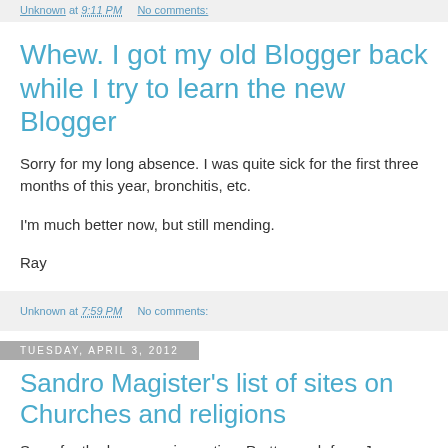Unknown at 9:11 PM   No comments:
Whew. I got my old Blogger back while I try to learn the new Blogger
Sorry for my long absence. I was quite sick for the first three months of this year, bronchitis, etc.
I'm much better now, but still mending.
Ray
Unknown at 7:59 PM   No comments:
Tuesday, April 3, 2012
Sandro Magister's list of sites on Churches and religions
Sorry for the huge gap in posting. Pretty much from January